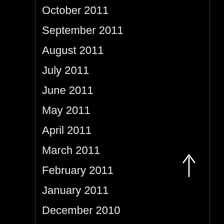October 2011
September 2011
August 2011
July 2011
June 2011
May 2011
April 2011
March 2011
February 2011
January 2011
December 2010
November 2010